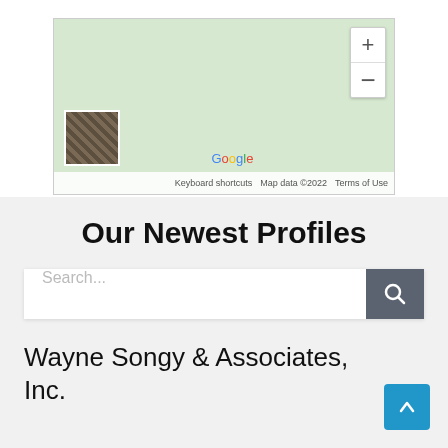[Figure (map): Google Maps embed showing a location with a satellite thumbnail, zoom controls (+/−), Google logo, and footer with 'Keyboard shortcuts', 'Map data ©2022', 'Terms of Use']
Our Newest Profiles
Search...
Wayne Songy & Associates, Inc.